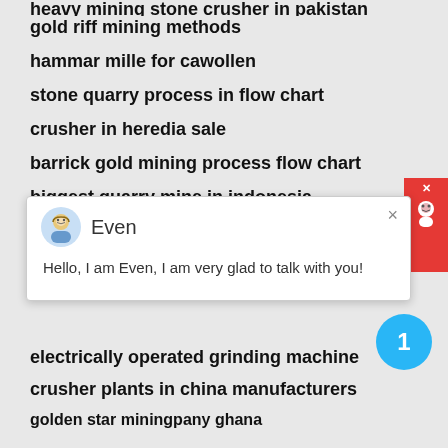gold riff mining methods
hammar mille for cawollen
stone quarry process in flow chart
crusher in heredia sale
barrick gold mining process flow chart
biggest quarry mine in indonesia
[Figure (screenshot): Chat popup from assistant named Even saying: Hello, I am Even, I am very glad to talk with you!]
electrically operated grinding machine
crusher plants in china manufacturers
golden star miningpany ghana
quartz sone crushing machine
coal 45 fired power plant crusher
rotary sand screening machine in bangalore
trituradora mandibula te coco